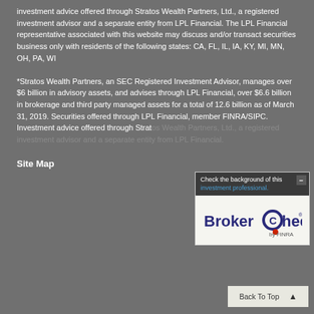investment advice offered through Stratos Wealth Partners, Ltd., a registered investment advisor and a separate entity from LPL Financial. The LPL Financial representative associated with this website may discuss and/or transact securities business only with residents of the following states: CA, FL, IL, IA, KY, MI, MN, OH, PA, WI
*Stratos Wealth Partners, an SEC Registered Investment Advisor, manages over $6 billion in advisory assets, and advises through LPL Financial, over $6.6 billion in brokerage and third party managed assets for a total of 12.6 billion as of March 31, 2019. Securities offered through LPL Financial, member FINRA/SIPC. Investment advice offered through Stratos Wealth Partners, Ltd., a registered investment advisor and a separate entity from LPL Financial.
[Figure (screenshot): BrokerCheck by FINRA popup widget with header text 'Check the background of this investment professional' and BrokerCheck logo with minus/close button]
Site Map
Back To Top